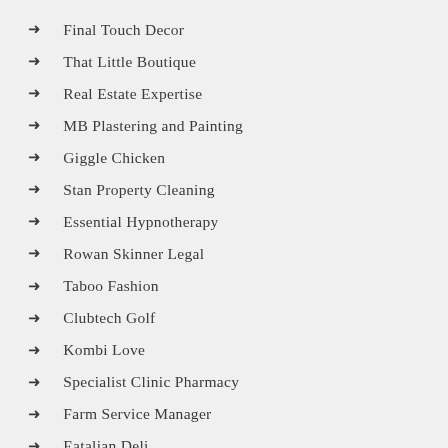Final Touch Decor
That Little Boutique
Real Estate Expertise
MB Plastering and Painting
Giggle Chicken
Stan Property Cleaning
Essential Hypnotherapy
Rowan Skinner Legal
Taboo Fashion
Clubtech Golf
Kombi Love
Specialist Clinic Pharmacy
Farm Service Manager
Eatalian Deli
Canbro Auto Detailing
Solaz
Dr Noel's Mushroom Powder